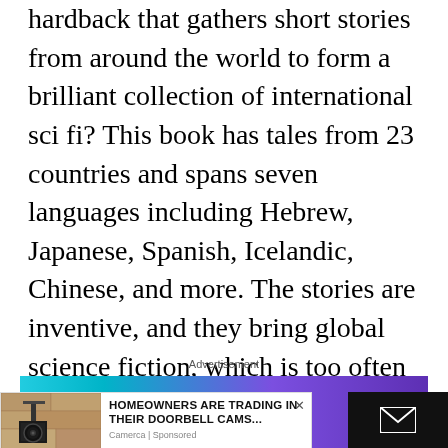hardback that gathers short stories from around the world to form a brilliant collection of international sci fi? This book has tales from 23 countries and spans seven languages including Hebrew, Japanese, Spanish, Icelandic, Chinese, and more. The stories are inventive, and they bring global science fiction, which is too often neglected and not translated or re-published, into the spotlight for everyday SFF readers. It covers fantasy, cyberpunk, time travel, space opera, and just about everything in between.
Advertisement
[Figure (other): Amazon Original Stories advertisement banner with teal and purple gradient background]
[Figure (other): Popup ad overlay: image of outdoor security camera on stone wall, headline 'HOMEOWNERS ARE TRADING IN THEIR DOORBELL CAMS...' with source 'Camerca | Sponsored', close button X, and black panel with email envelope icon on right]